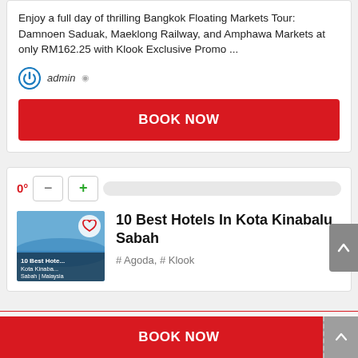Enjoy a full day of thrilling Bangkok Floating Markets Tour: Damnoen Saduak, Maeklong Railway, and Amphawa Markets at only RM162.25 with Klook Exclusive Promo ...
admin
BOOK NOW
0°
[Figure (screenshot): Thumbnail image of article about 10 Best Hotels in Kota Kinabalu Sabah Malaysia with heart/favorite button overlay]
10 Best Hotels In Kota Kinabalu Sabah
# Agoda, # Klook
BOOK NOW